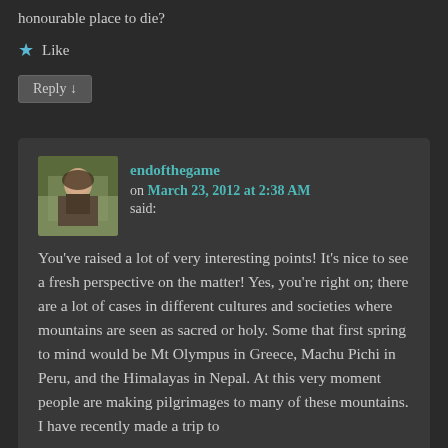honourable place to die?
★ Like
Reply ↓
endofthegame on March 23, 2012 at 2:38 AM said:
You've raised a lot of very interesting points! It's nice to see a fresh perspective on the matter! Yes, you're right on; there are a lot of cases in different cultures and societies where mountains are seen as sacred or holy. Some that first spring to mind would be Mt Olympus in Greece, Machu Pichi in Peru, and the Himalayas in Nepal. At this very moment people are making pilgrimages to many of these mountains. I have recently made a trip to